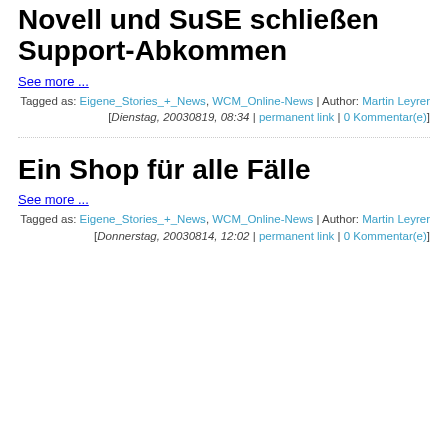Novell und SuSE schließen Support-Abkommen
See more ...
Tagged as: Eigene_Stories_+_News, WCM_Online-News | Author: Martin Leyrer
[Dienstag, 20030819, 08:34 | permanent link | 0 Kommentar(e)
Ein Shop für alle Fälle
See more ...
Tagged as: Eigene_Stories_+_News, WCM_Online-News | Author: Martin Leyrer
[Donnerstag, 20030814, 12:02 | permanent link | 0 Kommentar(e)